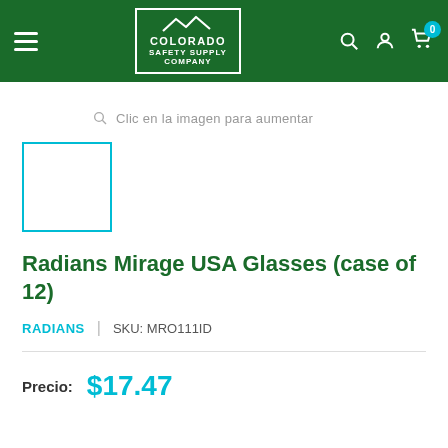Colorado Safety Supply Company — navigation header
Clic en la imagen para aumentar
[Figure (other): Product thumbnail placeholder box with teal border]
Radians Mirage USA Glasses (case of 12)
RADIANS | SKU: MRO111ID
Precio: $17.47